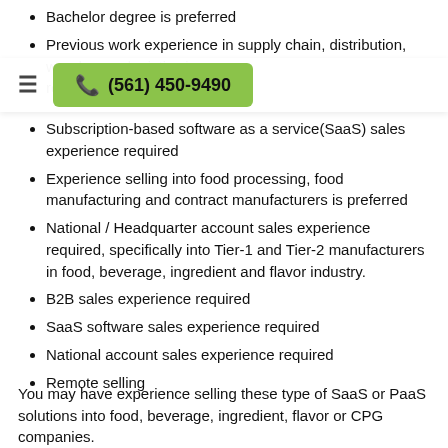Bachelor degree is preferred
Previous work experience in supply chain, distribution, warehouse, logistics is a … required
Subscription-based software as a service(SaaS) sales experience required
Experience selling into food processing, food manufacturing and contract manufacturers is preferred
National / Headquarter account sales experience required, specifically into Tier-1 and Tier-2 manufacturers in food, beverage, ingredient and flavor industry.
B2B sales experience required
SaaS software sales experience required
National account sales experience required
Remote selling
You may have experience selling these type of SaaS or PaaS solutions into food, beverage, ingredient, flavor or CPG companies.